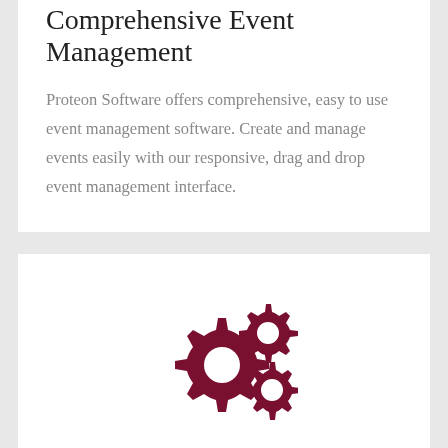Comprehensive Event Management
Proteon Software offers comprehensive, easy to use event management software. Create and manage events easily with our responsive, drag and drop event management interface.
[Figure (illustration): Two dark red/maroon gear icons representing settings or integration]
Integrated Organization Management
With Proteon, you can run your organization with the tools and processes you need to take it to the next level. We offer many different...